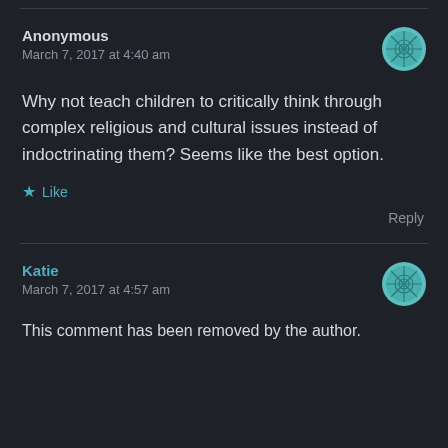Anonymous
March 7, 2017 at 4:40 am
Why not teach children to critically think through complex religious and cultural issues instead of indoctrinating them? Seems like the best option.
★ Like
Reply
Katie
March 7, 2017 at 4:57 am
This comment has been removed by the author.